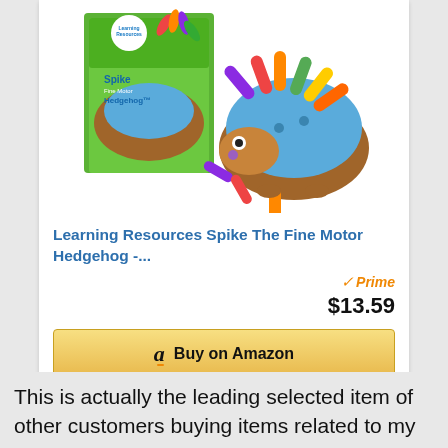[Figure (photo): Product photo of Learning Resources Spike The Fine Motor Hedgehog toy — a plastic hedgehog with colorful pegs/spikes in blue, orange, green, purple, red, and yellow. Includes the retail box in the background showing a child playing with it.]
Learning Resources Spike The Fine Motor Hedgehog -...
Prime
$13.59
Buy on Amazon
This is actually the leading selected item of other customers buying items related to my first hanukkah board book. For additional alternatives